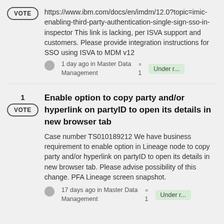https://www.ibm.com/docs/en/imdm/12.0?topic=imic-enabling-third-party-authentication-single-sign-sso-in-inspector This link is lacking, per ISVA support and customers. Please provide integration instructions for SSO using ISVA to MDM v12
1 day ago in Master Data Management  1  Under r...
Enable option to copy party and/or hyperlink on partyID to open its details in new browser tab
Case number TS010189212 We have business requirement to enable option in Lineage node to copy party and/or hyperlink on partyID to open its details in new browser tab. Please advise possibility of this change. PFA Lineage screen snapshot.
17 days ago in Master Data Management  1  Under r...